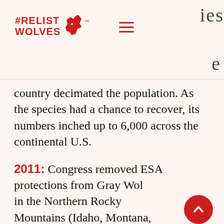#RELIST WOLVES
country decimated the population. As the species had a chance to recover, its numbers inched up to 6,000 across the continental U.S.
2011: Congress removed ESA protections from Gray Wolves in the Northern Rocky Mountains (Idaho, Montana, and Wyoming).
2020: The Trump administration delisted wolves nationally (in the rest of the